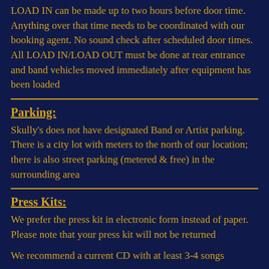LOAD IN can be made up to two hours before door time. Anything over that time needs to be coordinated with our booking agent. No sound check after scheduled door times. All LOAD IN/LOAD OUT must be done at rear entrance and band vehicles moved immediately after equipment has been loaded
Parking:
Skully's does not have designated Band or Artist parking. There is a city lot with meters to the north of our location; there is also street parking (metered & free) in the surrounding area
Press Kits:
We prefer the press kit in electronic form instead of paper. Please note that your press kit will not be returned
We recommend a current CD with at least 3-4 songs
Include A high quality photo and, if possible, a